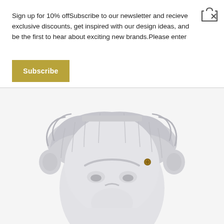[Figure (other): Shopping basket icon with an X in the top-right corner]
Sign up for 10% offSubscribe to our newsletter and recieve exclusive discounts, get inspired with our design ideas, and be the first to hear about exciting new brands.Please enter
[Figure (other): Golden/yellow Subscribe button]
[Figure (photo): White ceramic lion head planter/vase with detailed mane texture, facing forward, with a small gold/bronze screw or peg visible on the right side. The product is photographed against a light gray/white background.]